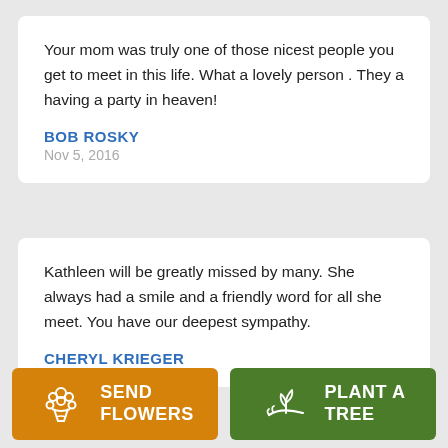Your mom was truly one of those nicest people you get to meet in this life. What a lovely person . They a having a party in heaven!
BOB ROSKY
Nov 5, 2016
Kathleen will be greatly missed by many. She always had a smile and a friendly word for all she meet. You have our deepest sympathy.
CHERYL KRIEGER
[Figure (illustration): Orange button with flower bouquet icon and text SEND FLOWERS]
[Figure (illustration): Green button with plant/tree icon and text PLANT A TREE]